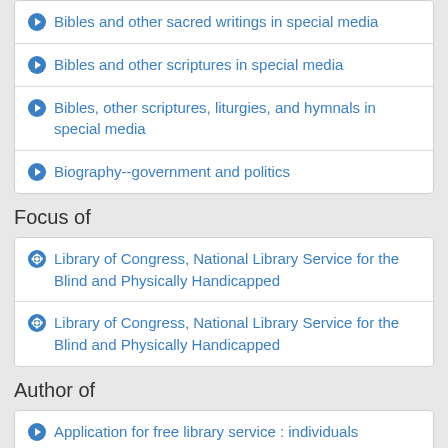Bibles and other sacred writings in special media
Bibles and other scriptures in special media
Bibles, other scriptures, liturgies, and hymnals in special media
Biography--government and politics
Focus of
Library of Congress, National Library Service for the Blind and Physically Handicapped
Library of Congress, National Library Service for the Blind and Physically Handicapped
Author of
Application for free library service : individuals
Mysteries for younger readers, 2012